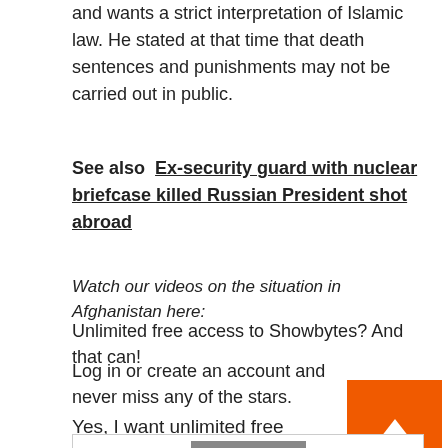and wants a strict interpretation of Islamic law. He stated at that time that death sentences and punishments may not be carried out in public.
See also  Ex-security guard with nuclear briefcase killed Russian President shot abroad
Watch our videos on the situation in Afghanistan here:
Unlimited free access to Showbytes? And that can!
Log in or create an account and never miss any of the stars.
Yes, I want unlimited free access
[Figure (photo): Partial view of a person's face at bottom of page]